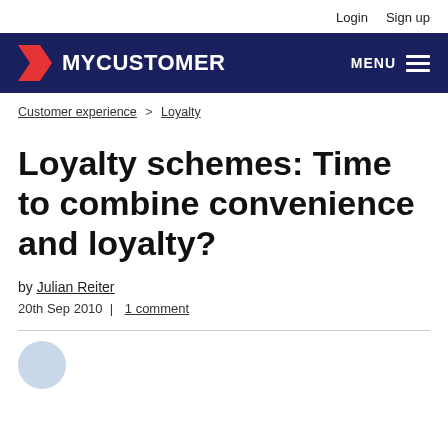Login   Sign up
[Figure (logo): MyCustomer website navigation bar with red arrow logo, MYCUSTOMER text in white on dark navy background, and MENU hamburger icon on the right]
Customer experience > Loyalty
Loyalty schemes: Time to combine convenience and loyalty?
by Julian Reiter
20th Sep 2010  |  1 comment